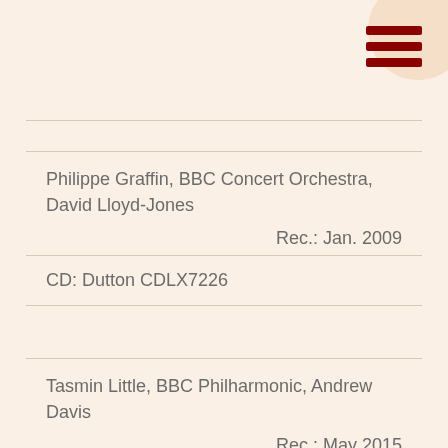[Figure (other): Hamburger menu icon with three dark red horizontal bars on a circular cream/peach background in the top-right corner]
Philippe Graffin, BBC Concert Orchestra, David Lloyd-Jones
Rec.: Jan. 2009
CD: Dutton CDLX7226
Tasmin Little, BBC Philharmonic, Andrew  Davis
Rec.: May 2015
CD: Chandos 10879